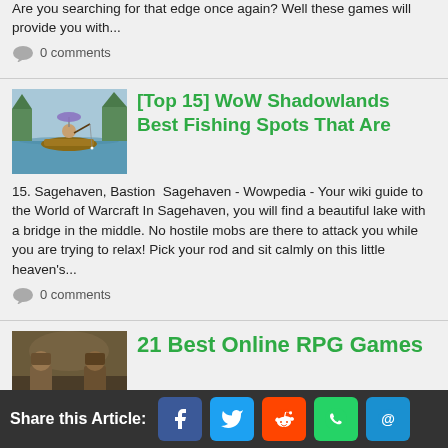Are you searching for that edge once again? Well these games will provide you with...
0 comments
[Top 15] WoW Shadowlands Best Fishing Spots That Are
[Figure (illustration): WoW Shadowlands fishing scene with character in a boat]
15. Sagehaven, Bastion  Sagehaven - Wowpedia - Your wiki guide to the World of Warcraft In Sagehaven, you will find a beautiful lake with a bridge in the middle. No hostile mobs are there to attack you while you are trying to relax! Pick your rod and sit calmly on this little heaven's...
0 comments
21 Best Online RPG Games
[Figure (illustration): 21 Best Online RPG Games cover image with armored warriors]
21 Best Online RPG's The Gaming World Has To Offer We've compiled a list of the most awesome MMORPG's of all time. And we have a little something
Share this Article: